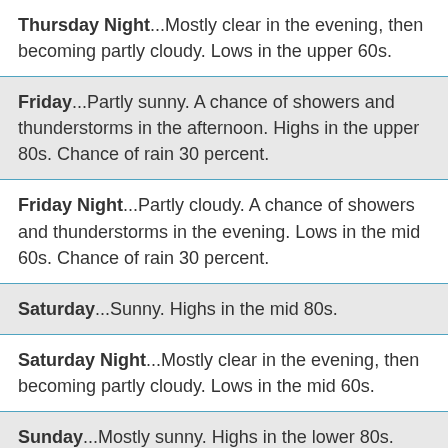Thursday Night...Mostly clear in the evening, then becoming partly cloudy. Lows in the upper 60s.
Friday...Partly sunny. A chance of showers and thunderstorms in the afternoon. Highs in the upper 80s. Chance of rain 30 percent.
Friday Night...Partly cloudy. A chance of showers and thunderstorms in the evening. Lows in the mid 60s. Chance of rain 30 percent.
Saturday...Sunny. Highs in the mid 80s.
Saturday Night...Mostly clear in the evening, then becoming partly cloudy. Lows in the mid 60s.
Sunday...Mostly sunny. Highs in the lower 80s.
Sunday Night...Mostly clear in the evening, then